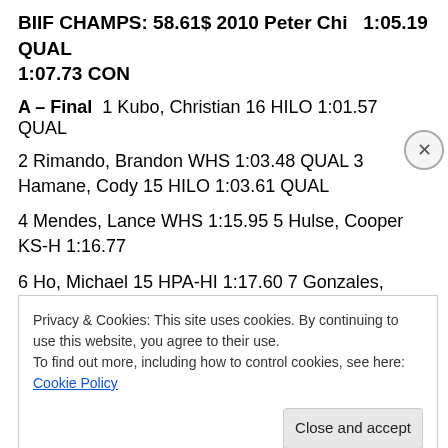BIIF CHAMPS: 58.61$ 2010 Peter Chi  1:05.19 QUAL 1:07.73 CON
A – Final  1 Kubo, Christian 16 HILO 1:01.57 QUAL
2 Rimando, Brandon WHS 1:03.48 QUAL 3 Hamane, Cody 15 HILO 1:03.61 QUAL
4 Mendes, Lance WHS 1:15.95 5 Hulse, Cooper KS-H 1:16.77
6 Ho, Michael 15 HPA-HI 1:17.60 7 Gonzales, Aaron WHS 1:17.06
Privacy & Cookies: This site uses cookies. By continuing to use this website, you agree to their use.
To find out more, including how to control cookies, see here: Cookie Policy
Close and accept